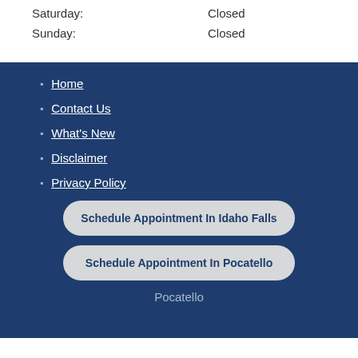Saturday: Closed
Sunday: Closed
Home
Contact Us
What's New
Disclaimer
Privacy Policy
Schedule Appointment In Idaho Falls
Schedule Appointment In Pocatello
Pocatello